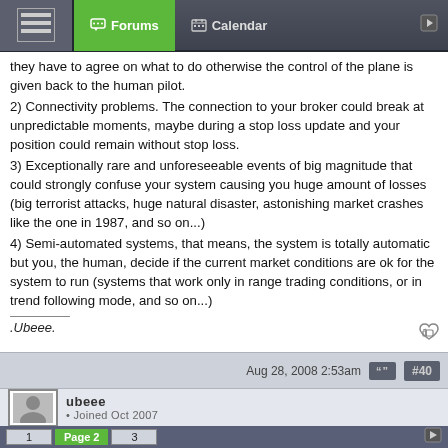Forums | Calendar
they have to agree on what to do otherwise the control of the plane is given back to the human pilot.
2) Connectivity problems. The connection to your broker could break at unpredictable moments, maybe during a stop loss update and your position could remain without stop loss.
3) Exceptionally rare and unforeseeable events of big magnitude that could strongly confuse your system causing you huge amount of losses (big terrorist attacks, huge natural disaster, astonishing market crashes like the one in 1987, and so on...)
4) Semi-automated systems, that means, the system is totally automatic but you, the human, decide if the current market conditions are ok for the system to run (systems that work only in range trading conditions, or in trend following mode, and so on...)
.Ubeee.
Aug 28, 2008 2:53am  #40
ubeee • Joined Oct 2007
1  Page 2  3